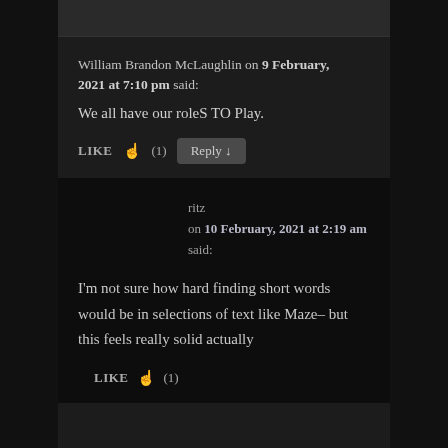William Brandon McLaughlin on 9 February, 2021 at 7:10 pm said:
We all have our roleS TO Play.
LIKE 👍 (1)  Reply ↓
ritz on 10 February, 2021 at 2:19 am said:
I'm not sure how hard finding short words would be in selections of text like Maze– but this feels really solid actually
LIKE 👍 (1)